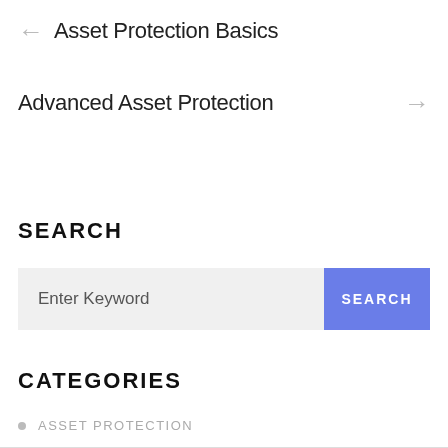← Asset Protection Basics
Advanced Asset Protection →
SEARCH
Enter Keyword
SEARCH
CATEGORIES
ASSET PROTECTION